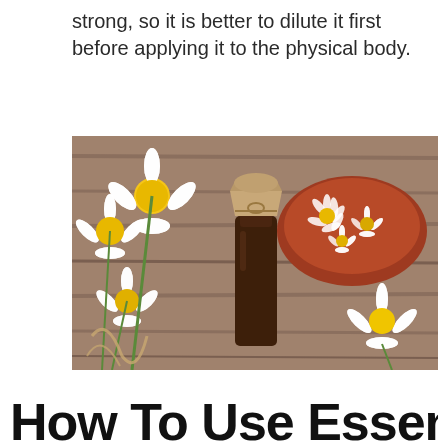strong, so it is better to dilute it first before applying it to the physical body.
[Figure (photo): Photo of a small amber essential oil bottle wrapped in brown paper and twine, surrounded by white daisy chamomile flowers on a wooden surface, with a clay plate of dried chamomile flowers in the background.]
How To Use Essential